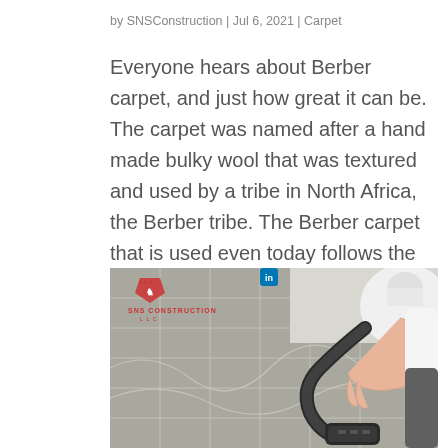by SNSConstruction | Jul 6, 2021 | Carpet
Everyone hears about Berber carpet, and just how great it can be. The carpet was named after a hand made bulky wool that was textured and used by a tribe in North Africa, the Berber tribe. The Berber carpet that is used even today follows the same tradition of the...
[Figure (photo): A person vacuuming a Berber carpet with a handheld vacuum, with an SNS Construction LLC watermark visible in the upper left corner of the image.]